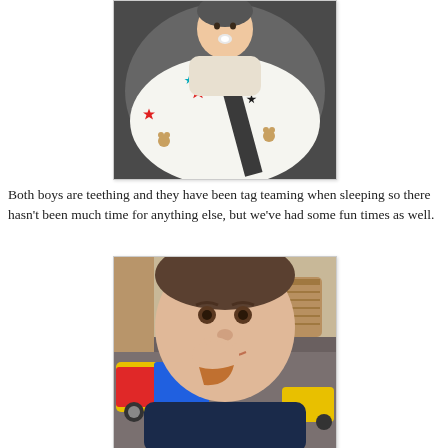[Figure (photo): Baby in a car seat covered with a colorful blanket featuring stars, foxes, and bears pattern, with a seatbelt across. Baby has a pacifier.]
Both boys are teething and they have been tag teaming when sleeping so there hasn't been much time for anything else, but we've had some fun times as well.
[Figure (photo): Toddler boy eating something with his hand, wearing a dark navy top, sitting near a colorful toy truck. Wicker basket and wooden furniture visible in background.]